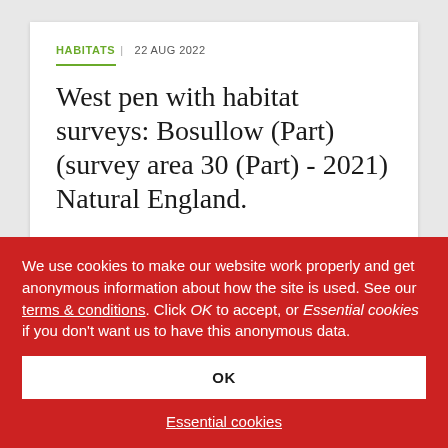HABITATS | 22 AUG 2022
West pen with habitat surveys: Bosullow (Part) (survey area 30 (Part) - 2021) Natural England.
We use cookies to make our website work properly and get anonymous information about how the site is used. See our terms & conditions. Click OK to accept, or Essential cookies if you don't want us to have this anonymous data.
OK
Essential cookies